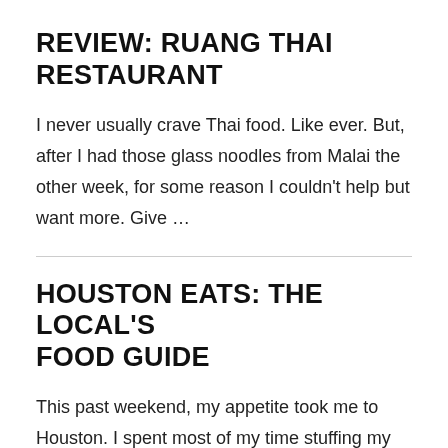REVIEW: RUANG THAI RESTAURANT
I never usually crave Thai food. Like ever. But, after I had those glass noodles from Malai the other week, for some reason I couldn't help but want more. Give …
HOUSTON EATS: THE LOCAL'S FOOD GUIDE
This past weekend, my appetite took me to Houston. I spent most of my time stuffing my face and being stuck in traffic trying to get place to